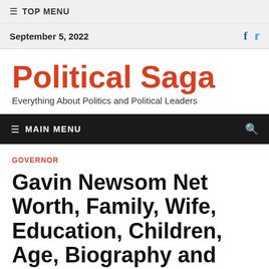≡ TOP MENU
September 5, 2022
Political Saga
Everything About Politics and Political Leaders
≡ MAIN MENU
GOVERNOR
Gavin Newsom Net Worth, Family, Wife, Education, Children, Age, Biography and Political Career